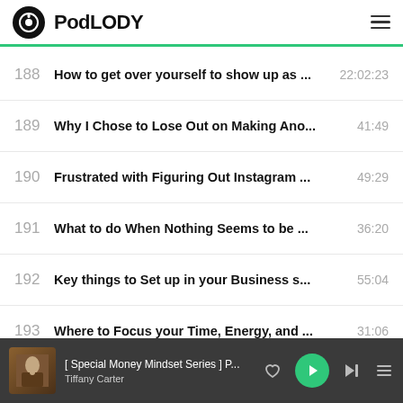PodLODY
188  How to get over yourself to show up as ...  22:02:23
189  Why I Chose to Lose Out on Making Ano...  41:49
190  Frustrated with Figuring Out Instagram ...  49:29
191  What to do When Nothing Seems to be ...  36:20
192  Key things to Set up in your Business s...  55:04
193  Where to Focus your Time, Energy, and ...  31:06
194  Learn How to Deeply Connect with your ...  31:40
195  Biggest Mistakes and Best Bets when L...  31:44
[ Special Money Mindset Series ] P...  Tiffany Carter